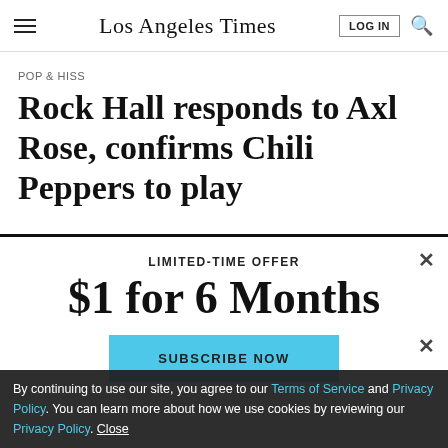Los Angeles Times
POP & HISS
Rock Hall responds to Axl Rose, confirms Chili Peppers to play
LIMITED-TIME OFFER
$1 for 6 Months
SUBSCRIBE NOW
By continuing to use our site, you agree to our Terms of Service and Privacy Policy. You can learn more about how we use cookies by reviewing our Privacy Policy. Close